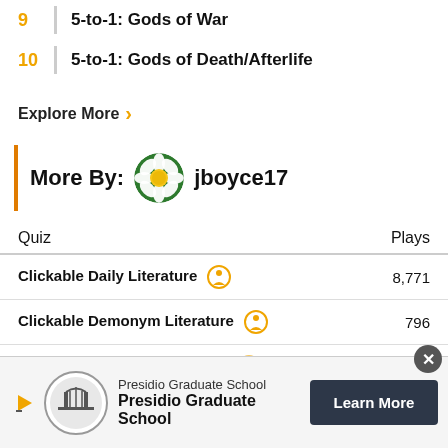9 | 5-to-1: Gods of War
10 | 5-to-1: Gods of Death/Afterlife
Explore More >
More By: jboyce17
| Quiz | Plays |
| --- | --- |
| Clickable Daily Literature | 8,771 |
| Clickable Demonym Literature | 796 |
| Clickable Feminine Literature | 7… |
[Figure (screenshot): Advertisement banner: Presidio Graduate School with Learn More button]